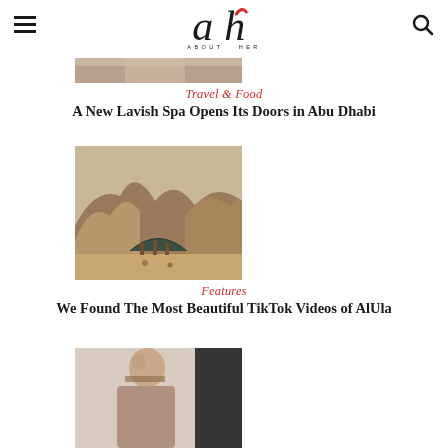About Her
[Figure (photo): Partial image of spa or interior at top of page, cropped]
Travel & Food
A New Lavish Spa Opens Its Doors in Abu Dhabi
[Figure (photo): Desert landscape with a tent/pavilion structure nestled between rocky cliffs, warm golden tones, AlUla setting]
Features
We Found The Most Beautiful TikTok Videos of AlUla
[Figure (photo): Portrait of a man, partially visible, bottom of page]